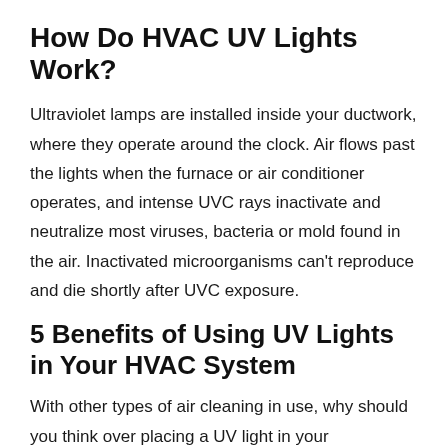How Do HVAC UV Lights Work?
Ultraviolet lamps are installed inside your ductwork, where they operate around the clock. Air flows past the lights when the furnace or air conditioner operates, and intense UVC rays inactivate and neutralize most viruses, bacteria or mold found in the air. Inactivated microorganisms can't reproduce and die shortly after UVC exposure.
5 Benefits of Using UV Lights in Your HVAC System
With other types of air cleaning in use, why should you think over placing a UV light in your